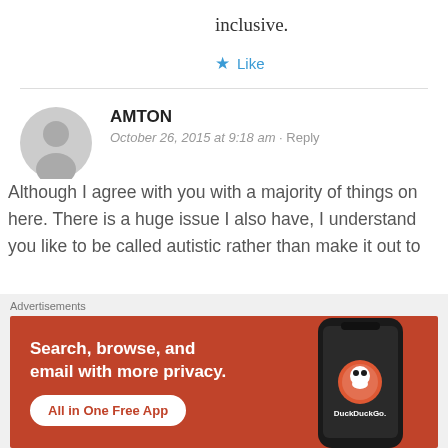inclusive.
★ Like
AMTON
October 26, 2015 at 9:18 am · Reply
Although I agree with you with a majority of things on here. There is a huge issue I also have, I understand you like to be called autistic rather than make it out to
[Figure (screenshot): DuckDuckGo advertisement banner: orange/red background with text 'Search, browse, and email with more privacy. All in One Free App' and a phone with DuckDuckGo logo.]